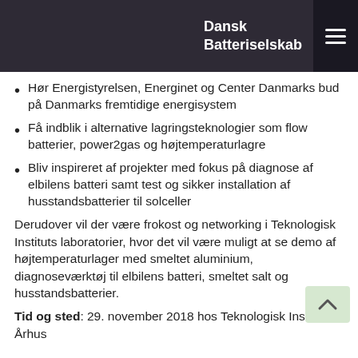Dansk Batteriselskab
Hør Energistyrelsen, Energinet og Center Danmarks bud på Danmarks fremtidige energisystem
Få indblik i alternative lagringsteknologier som flow batterier, power2gas og højtemperaturlagre
Bliv inspireret af projekter med fokus på diagnose af elbilens batteri samt test og sikker installation af husstandsbatterier til solceller
Derudover vil der være frokost og networking i Teknologisk Instituts laboratorier, hvor det vil være muligt at se demo af højtemperaturlager med smeltet aluminium, diagnoseværktøj til elbilens batteri, smeltet salt og husstandsbatterier.
Tid og sted: 29. november 2018 hos Teknologisk Institut i Århus